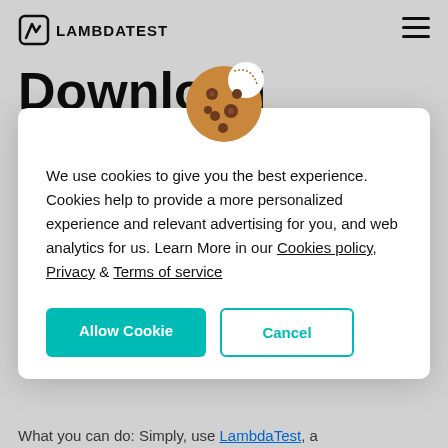LAMBDATEST
Download Internet Explorer
Microsoft recommends Edge for any
[Figure (illustration): Cookie emoji icon used in cookie consent modal]
We use cookies to give you the best experience. Cookies help to provide a more personalized experience and relevant advertising for you, and web analytics for us. Learn More in our Cookies policy, Privacy & Terms of service
Allow Cookie | Cancel
What you can do: Simply, use LambdaTest, a